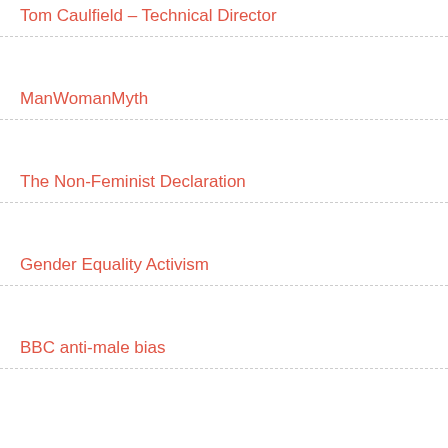Tom Caulfield – Technical Director
ManWomanMyth
The Non-Feminist Declaration
Gender Equality Activism
BBC anti-male bias